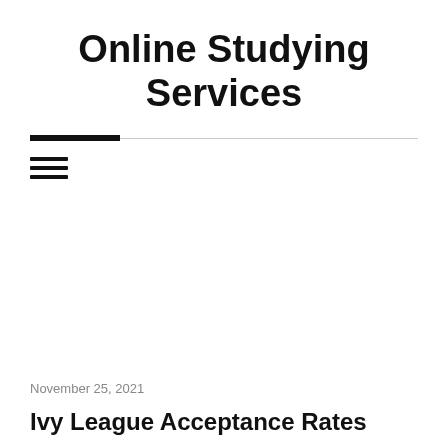Online Studying Services
November 25, 2021
Ivy League Acceptance Rates